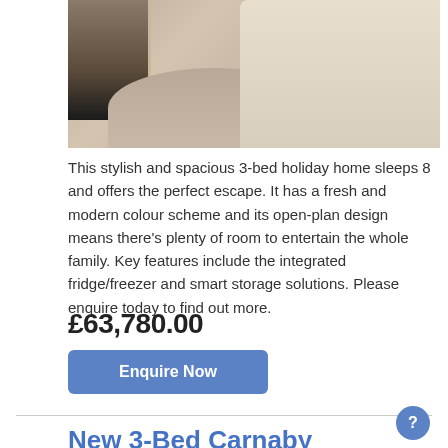[Figure (photo): Interior photo of a holiday home living room showing a beige sofa, carpet flooring, and a fireplace with wood paneling]
This stylish and spacious 3-bed holiday home sleeps 8 and offers the perfect escape. It has a fresh and modern colour scheme and its open-plan design means there's plenty of room to entertain the whole family. Key features include the integrated fridge/freezer and smart storage solutions. Please enquire today to find out more.
£63,780.00
Enquire Now
New 3-Bed Carnaby Glenmore
[Figure (photo): Partial photo of a holiday home interior, cropped at bottom of page]